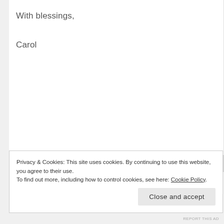With blessings,
Carol
add another page.
Privacy & Cookies: This site uses cookies. By continuing to use this website, you agree to their use.
To find out more, including how to control cookies, see here: Cookie Policy
Close and accept